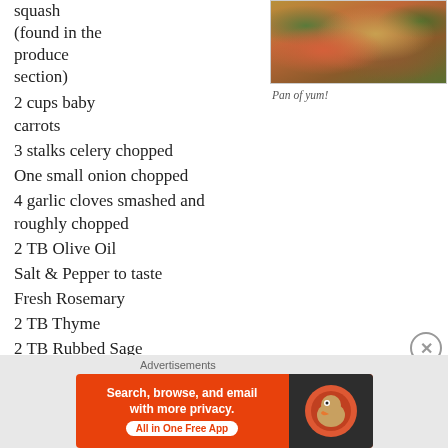squash (found in the produce section)
[Figure (photo): A pan containing roasted vegetables including carrots, potatoes, and herbs such as rosemary]
Pan of yum!
2 cups baby carrots
3 stalks celery chopped
One small onion chopped
4 garlic cloves smashed and roughly chopped
2 TB Olive Oil
Salt & Pepper to taste
Fresh Rosemary
2 TB Thyme
2 TB Rubbed Sage
1 tsp Red Pepper Flakes (reduce if you’d prefer a little less spicy)
Advertisements
[Figure (screenshot): DuckDuckGo advertisement banner: Search, browse, and email with more privacy. All in One Free App.]